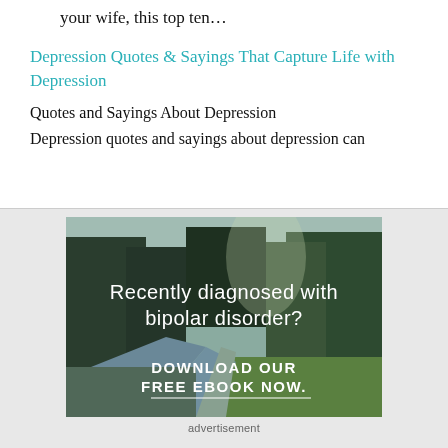your wife, this top ten…
Depression Quotes & Sayings That Capture Life with Depression
Quotes and Sayings About Depression
Depression quotes and sayings about depression can
[Figure (photo): Forest landscape with river and trees, overlaid with text: 'Recently diagnosed with bipolar disorder? DOWNLOAD OUR FREE EBOOK NOW.']
advertisement